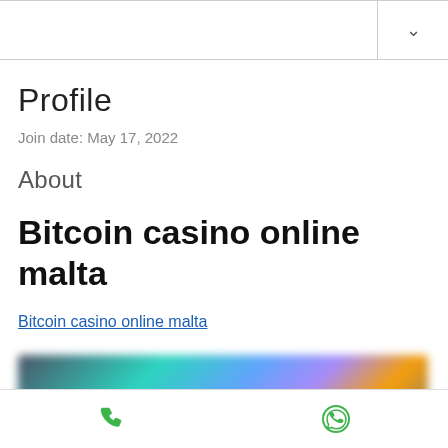Profile
Join date: May 17, 2022
About
Bitcoin casino online malta
Bitcoin casino online malta
[Figure (photo): Blurred image related to Bitcoin casino online malta]
Phone icon and WhatsApp icon